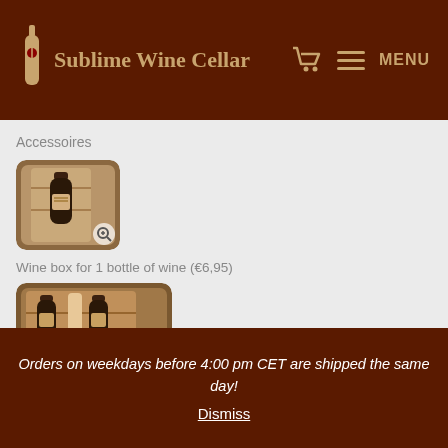Sublime Wine Cellar — MENU
Accessoires
[Figure (photo): Photo of a wooden wine box for 1 bottle of wine with a zoom icon overlay]
Wine box for 1 bottle of wine (€6,95)
[Figure (photo): Photo of a wooden wine box for 2 bottles of wine with a zoom icon overlay]
Orders on weekdays before 4:00 pm CET are shipped the same day! Dismiss